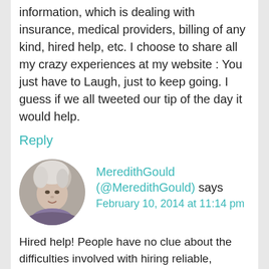information, which is dealing with insurance, medical providers, billing of any kind, hired help, etc. I choose to share all my crazy experiences at my website : You just have to Laugh, just to keep going. I guess if we all tweeted our tip of the day it would help.
Reply
MeredithGould (@MeredithGould) says February 10, 2014 at 11:14 pm
Hired help! People have no clue about the difficulties involved with hiring reliable, responsible help. After I moved, the woman I worked for (who became a dear